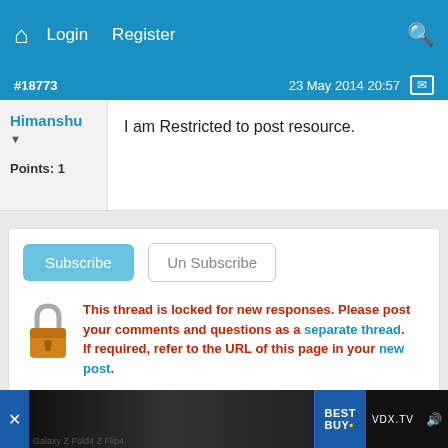Login  Register
#18773  23 May 2014 20:57
Himanshu
Points: 1
I am Restricted to post resource.
Subscribe  Un Subscribe
This thread is locked for new responses. Please post your comments and questions as a separate thread.
If required, refer to the URL of this page in your new post.
Submit New Thread
[Figure (screenshot): Best Buy advertisement video banner at bottom of page with VDX.TV branding]